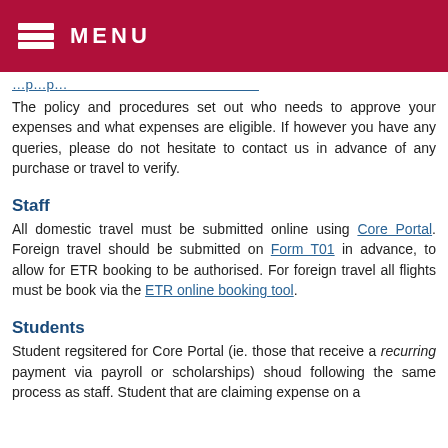MENU
(truncated/partial line from previous content)
The policy and procedures set out who needs to approve your expenses and what expenses are eligible.  If however you have any queries, please do not hesitate to contact us in advance of any purchase or travel to verify.
Staff
All domestic travel must be submitted online using Core Portal.  Foreign travel should be submitted on Form T01 in advance, to allow for ETR booking to be authorised.  For foreign travel all flights must be book via the ETR online booking tool.
Students
Student regsitered for Core Portal (ie. those that receive a recurring payment via payroll or scholarships) shoud following the same process as staff.  Student that are claiming expense on a